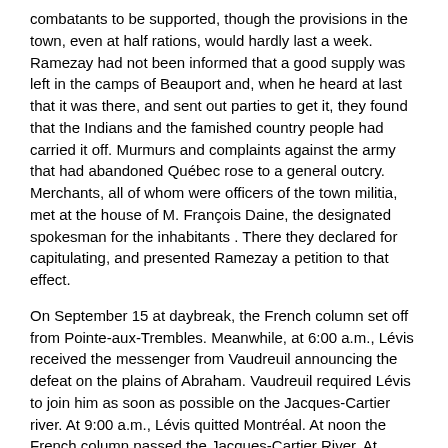combatants to be supported, though the provisions in the town, even at half rations, would hardly last a week. Ramezay had not been informed that a good supply was left in the camps of Beauport and, when he heard at last that it was there, and sent out parties to get it, they found that the Indians and the famished country people had carried it off. Murmurs and complaints against the army that had abandoned Québec rose to a general outcry. Merchants, all of whom were officers of the town militia, met at the house of M. François Daine, the designated spokesman for the inhabitants . There they declared for capitulating, and presented Ramezay a petition to that effect.
On September 15 at daybreak, the French column set off from Pointe-aux-Trembles. Meanwhile, at 6:00 a.m., Lévis received the messenger from Vaudreuil announcing the defeat on the plains of Abraham. Vaudreuil required Lévis to join him as soon as possible on the Jacques-Cartier river. At 9:00 a.m., Lévis quitted Montréal. At noon the French column passed the Jacques-Cartier River. At 11:00 p.m., Lévis reached Maskinongé where he spent the night.
Townsend, who had now succeeded Wolfe as commander of the British army, pushed his trenches forward against Québec with the greatest energy. The French, despite their precipitate retreat, were still in superior force in his rear; and though certainly demoralised might rally on joining the unbeaten troops of Lévis. It was therefore imperative to press the garrison hard while still overpowered by the despairing sense of its isolation.